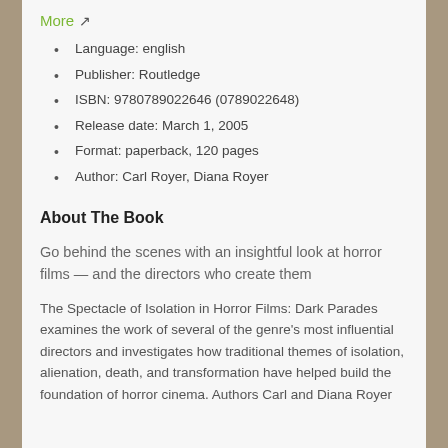More ↗
Language: english
Publisher: Routledge
ISBN: 9780789022646 (0789022648)
Release date: March 1, 2005
Format: paperback, 120 pages
Author: Carl Royer, Diana Royer
About The Book
Go behind the scenes with an insightful look at horror films — and the directors who create them
The Spectacle of Isolation in Horror Films: Dark Parades examines the work of several of the genre's most influential directors and investigates how traditional themes of isolation, alienation, death, and transformation have helped build the foundation of horror cinema. Authors Carl and Diana Royer...